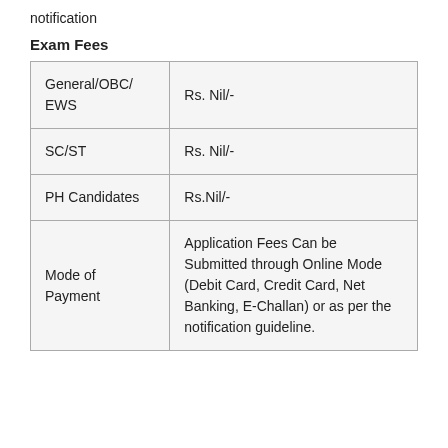notification
Exam Fees
|  |  |
| --- | --- |
| General/OBC/EWS | Rs. Nil/- |
| SC/ST | Rs. Nil/- |
| PH Candidates | Rs.Nil/- |
| Mode of Payment | Application Fees Can be Submitted through Online Mode (Debit Card, Credit Card, Net Banking, E-Challan) or as per the notification guideline. |